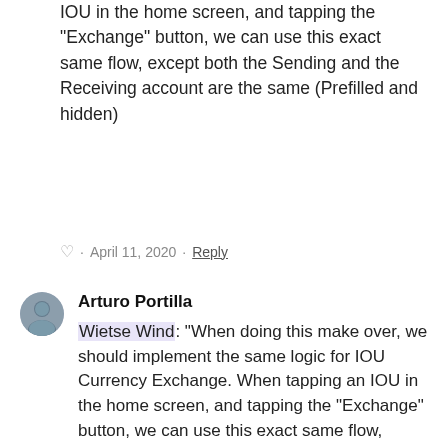IOU in the home screen, and tapping the "Exchange" button, we can use this exact same flow, except both the Sending and the Receiving account are the same (Prefilled and hidden)
♡ · April 11, 2020 · Reply
Arturo Portilla
Wietse Wind: "When doing this make over, we should implement the same logic for IOU Currency Exchange. When tapping an IOU in the home screen, and tapping the "Exchange" button, we can use this exact same flow, except both the Sending and the Receiving account are the same (Prefilled and hidden)"
— My bad, didn't see this earlier. Seems like you got it covered. Awesome!